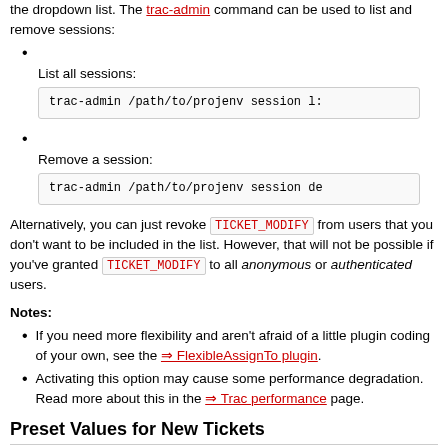the dropdown list. The trac-admin command can be used to list and remove sessions:
List all sessions:
trac-admin /path/to/projenv session l:
Remove a session:
trac-admin /path/to/projenv session de
Alternatively, you can just revoke TICKET_MODIFY from users that you don't want to be included in the list. However, that will not be possible if you've granted TICKET_MODIFY to all anonymous or authenticated users.
Notes:
If you need more flexibility and aren't afraid of a little plugin coding of your own, see the FlexibleAssignTo plugin.
Activating this option may cause some performance degradation. Read more about this in the Trac performance page.
Preset Values for New Tickets
To create a link to the new-ticket form filled with preset values, you need to call the /newticket? URL with variable=value